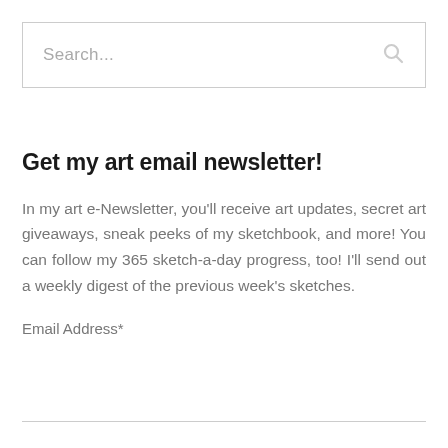[Figure (other): Search input box with placeholder text 'Search...' and a search icon on the right]
Get my art email newsletter!
In my art e-Newsletter, you'll receive art updates, secret art giveaways, sneak peeks of my sketchbook, and more! You can follow my 365 sketch-a-day progress, too! I'll send out a weekly digest of the previous week's sketches.
Email Address*